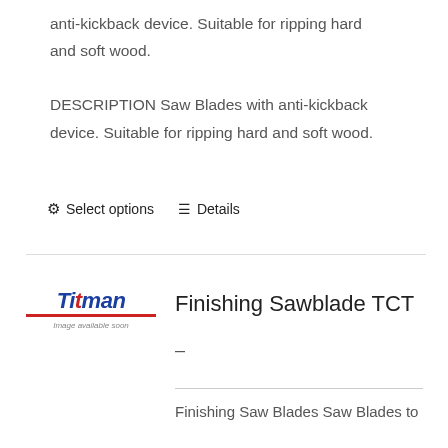anti-kickback device. Suitable for ripping hard and soft wood. DESCRIPTION Saw Blades with anti-kickback device. Suitable for ripping hard and soft wood.
⚙ Select options
≡ Details
[Figure (logo): Titman logo with 'Image available soon' text below]
Finishing Sawblade TCT
–
Finishing Saw Blades Saw Blades to